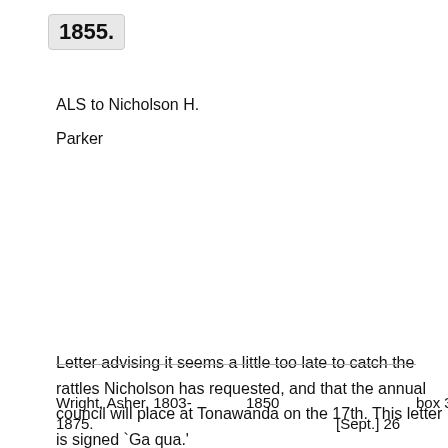1855.
ALS to Nicholson H.
Parker
Letter advising it seems a little too late to catch the rattles Nicholson has requested, and that the annual council will place at Tonawanda on the 17th. This letter is signed `Ga qua.'
| Name | Year |  | Box |
| --- | --- | --- | --- |
| Wright, Asher, 1803- | 1850 |  | box 3 |
| 1875. | [Sept.] 26 |  |  |